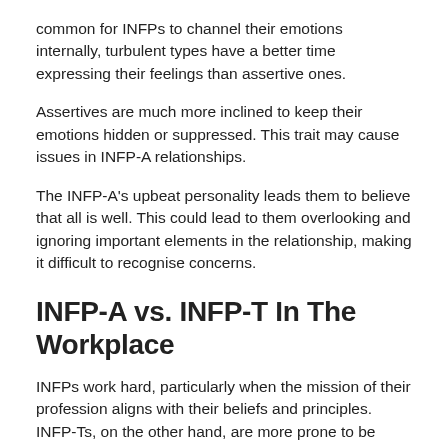common for INFPs to channel their emotions internally, turbulent types have a better time expressing their feelings than assertive ones.
Assertives are much more inclined to keep their emotions hidden or suppressed. This trait may cause issues in INFP-A relationships.
The INFP-A's upbeat personality leads them to believe that all is well. This could lead to them overlooking and ignoring important elements in the relationship, making it difficult to recognise concerns.
INFP-A vs. INFP-T In The Workplace
INFPs work hard, particularly when the mission of their profession aligns with their beliefs and principles. INFP-Ts, on the other hand, are more prone to be troubled by their idealistic nature.